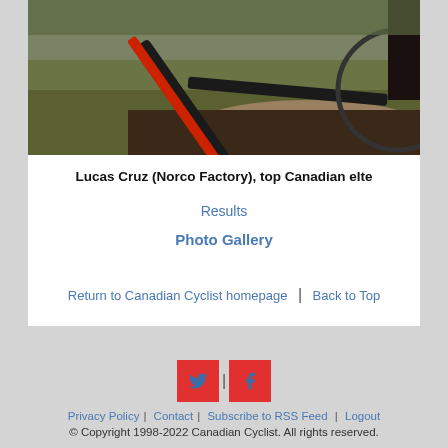[Figure (photo): Close-up photo of a bicycle frame/fork with red components near the ground on grass and dirt, partially cropped.]
Lucas Cruz (Norco Factory), top Canadian elte
Results
Photo Gallery
Return to Canadian Cyclist homepage | Back to Top
[Figure (logo): Twitter and Facebook social media icon buttons in red squares.]
Privacy Policy | Contact | Subscribe to RSS Feed | Logout
© Copyright 1998-2022 Canadian Cyclist. All rights reserved.